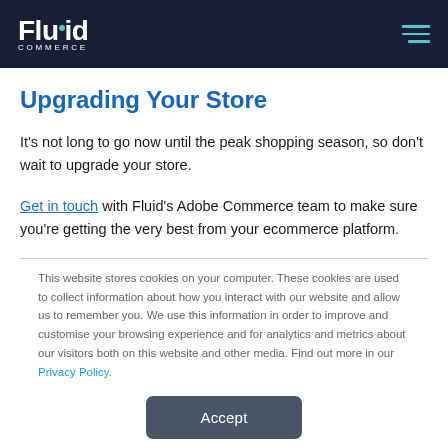Fluid Commerce
Upgrading Your Store
It's not long to go now until the peak shopping season, so don't wait to upgrade your store.
Get in touch with Fluid's Adobe Commerce team to make sure you're getting the very best from your ecommerce platform.
This website stores cookies on your computer. These cookies are used to collect information about how you interact with our website and allow us to remember you. We use this information in order to improve and customise your browsing experience and for analytics and metrics about our visitors both on this website and other media. Find out more in our Privacy Policy.
Accept